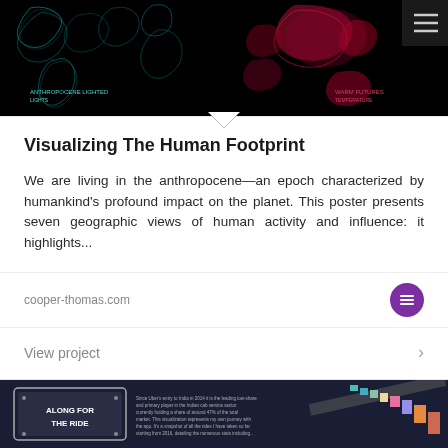[Figure (screenshot): Dark map visualization showing human footprint across world continents with cyan/teal lines on left and red/pink patterns on right against black background]
Visualizing The Human Footprint
We are living in the anthropocene—an epoch characterized by humankind's profound impact on the planet. This poster presents seven geographic views of human activity and influence: it highlights...
cooper-thomas.com
View project
[Figure (screenshot): Dark blue infographic titled 'Along For The Ride' showing road visualization with colorful blocks representing Uber/ride data]